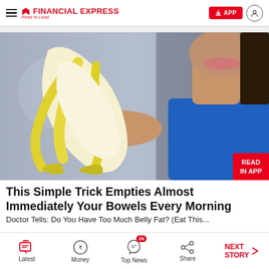FINANCIAL EXPRESS — Read to Lead
[Figure (photo): Woman in blue sleeveless top peeling a banana, close-up shot showing her hands and lower face]
This Simple Trick Empties Almost Immediately Your Bowels Every Morning
Doctor Tells: Do You Have Too Much Belly Fat? (Eat This...
Latest | Money | Top News (26) | Share | NEXT STORY